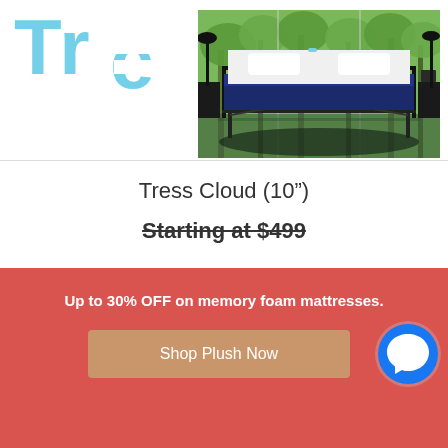Tress
[Figure (photo): A king-size bed with white bedding on a dark metal frame, set against a backdrop of floor-to-ceiling windows with green trees outside. The mattress has a navy blue border. Two black floor lamps and dark nightstands flank the bed.]
Tress Cloud (10″)
Starting at $499
Up to 30% OFF on memory foam mattresses.
Shop Plush Now
[Figure (logo): Facebook Messenger logo button (blue circle with white lightning bolt/chat icon)]